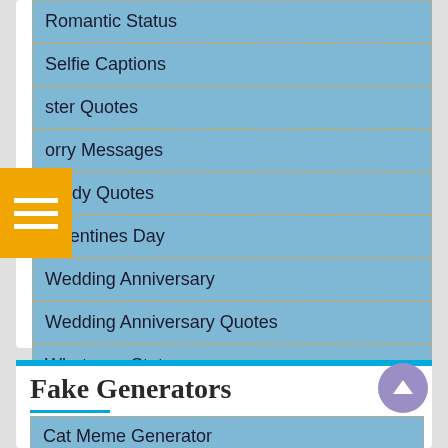Romantic Status
Selfie Captions
ster Quotes
orry Messages
Study Quotes
Valentines Day
Wedding Anniversary
Wedding Anniversary Quotes
Whatsapp Status
Fake Generators
Cat Meme Generator